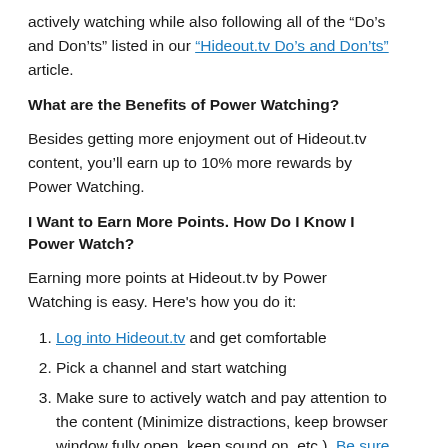actively watching while also following all of the “Do’s and Don’ts” listed in our “Hideout.tv Do’s and Don’ts” article.
What are the Benefits of Power Watching?
Besides getting more enjoyment out of Hideout.tv content, you’ll earn up to 10% more rewards by Power Watching.
I Want to Earn More Points. How Do I Know I Power Watch?
Earning more points at Hideout.tv by Power Watching is easy. Here’s how you do it:
Log into Hideout.tv and get comfortable
Pick a channel and start watching
Make sure to actively watch and pay attention to the content (Minimize distractions, keep browser window fully open, keep sound on, etc.). Be sure to follow all of the DO’s and Dont’s as well.